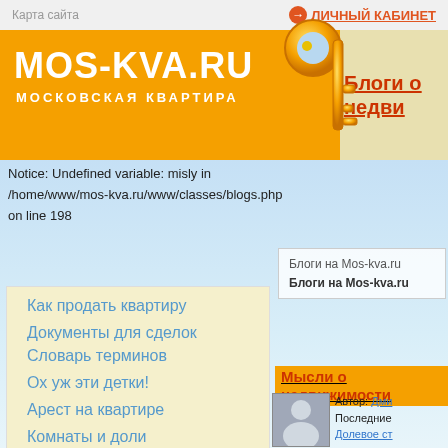Карта сайта
ЛИЧНЫЙ КАБИНЕТ
MOS-KVA.RU
московская квартира
Блоги о недви
Notice: Undefined variable: misly in /home/www/mos-kva.ru/www/classes/blogs.php on line 198
Блоги на Mos-kva.ru
Блоги на Mos-kva.ru
Как продать квартиру
Документы для сделок
Словарь терминов
Ох уж эти детки!
Арест на квартире
Комнаты и доли
Ипотека
10:1 не в пользу
Мысли о недвижимости
Автор: Дми
Последние
Долевое ст